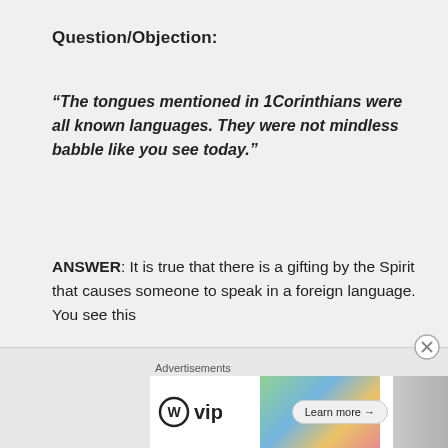Question/Objection:
“The tongues mentioned in 1Corinthians were all known languages. They were not mindless babble like you see today.”
ANSWER: It is true that there is a gifting by the Spirit that causes someone to speak in a foreign language. You see this
in Acts 2 and it’s also mentioned here . . .
1Corinthians 12:10
Advertisements